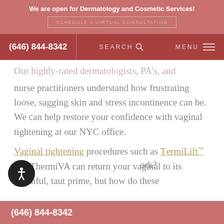We are open for Dermatology and Cosmetic Services!
SCHEDULE A VIRTUAL CONSULTATION
(646) 844-8342   SEARCH   MENU
nurse practitioners understand how frustrating loose, sagging skin and stress incontinence can be. We can help restore your confidence with vaginal tightening at our NYC office.
Vaginal tightening procedures such as ThermiLift™ and ThermiVA can return your vaginal to its youthful, taut prime, but how do these ...ork?
(646) 844-8342